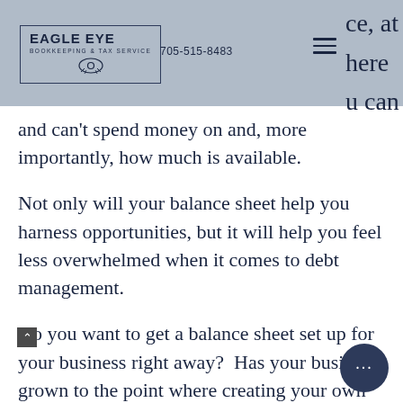Eagle Eye Bookkeeping & Tax Service | 705-515-8483
ce, at here u can and can't spend money on and, more importantly, how much is available.
Not only will your balance sheet help you harness opportunities, but it will help you feel less overwhelmed when it comes to debt management.
Do you want to get a balance sheet set up for your business right away?  Has your business grown to the point where creating your own balance sheet is out of the question?
If that sounds about right, book an initial consultation with us today, a we can discuss in more detail how our